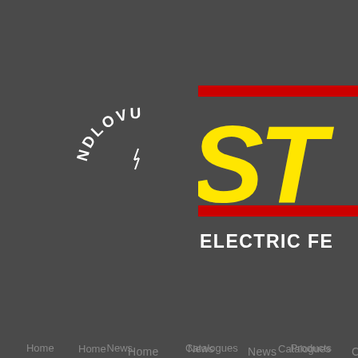[Figure (logo): NDLOVU arched text logo in white on dark grey background, with a small lightning bolt icon in the center]
[Figure (logo): Partial STAR Electric fencing logo with yellow italic bold letters 'ST' visible, red horizontal stripes above and below, and 'ELECTRIC FE' text below in white]
Home
News
Catalogues
Products